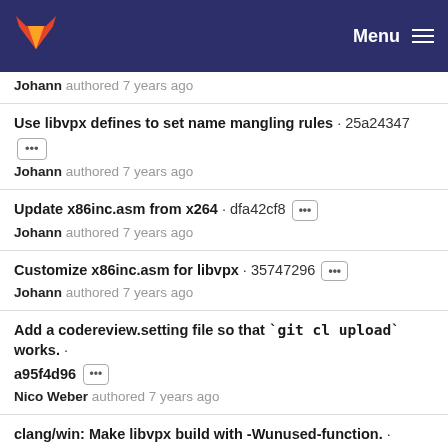GitLab — Menu
Johann authored 7 years ago
Use libvpx defines to set name mangling rules · 25a24347 — Johann authored 7 years ago
Update x86inc.asm from x264 · dfa42cf8 — Johann authored 7 years ago
Customize x86inc.asm for libvpx · 35747296 — Johann authored 7 years ago
Add a codereview.setting file so that `git cl upload` works. · a95f4d96 — Nico Weber authored 7 years ago
clang/win: Make libvpx build with -Wunused-function. · 8a64f516 — Nico Weber authored 7 years ago and James Zern committed 7